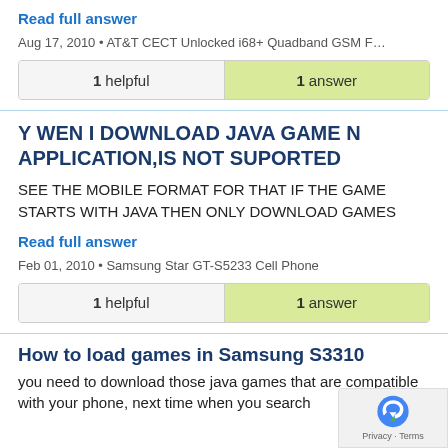Read full answer
Aug 17, 2010 • AT&T CECT Unlocked i68+ Quadband GSM F…
| 1 helpful | 1 answer |
Y WEN I DOWNLOAD JAVA GAME N APPLICATION,IS NOT SUPORTED
SEE THE MOBILE FORMAT FOR THAT IF THE GAME STARTS WITH JAVA THEN ONLY DOWNLOAD GAMES
Read full answer
Feb 01, 2010 • Samsung Star GT-S5233 Cell Phone
| 1 helpful | 1 answer |
How to load games in Samsung S3310
you need to download those java games that are compatible with your phone, next time when you search